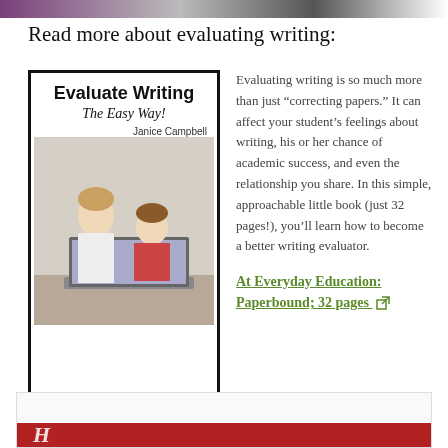Read more about evaluating writing:
[Figure (illustration): Book cover for 'Evaluate Writing: The Easy Way!' by Janice Campbell, showing a woman and girl using a laptop]
Evaluating writing is so much more than just “correcting papers.” It can affect your student’s feelings about writing, his or her chance of academic success, and even the relationship you share. In this simple, approachable little book (just 32 pages!), you’ll learn how to become a better writing evaluator.
At Everyday Education: Paperbound; 32 pages